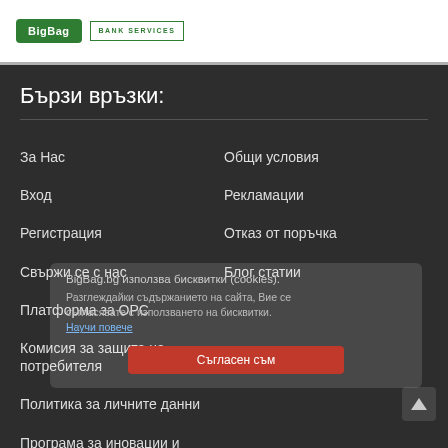[Figure (logo): BigBag.bg bank services logo with green button and outlined bank services text]
Бързи връзки:
За Нас
Общи условия
Вход
Рекламации
Регистрация
Отказ от поръчка
Свържи се с нас
Блог статии
Платформа за ОРС
Комисия за защита на потребителя
Политика за личните данни
Програма за иновации и
BigBag.bg използва бисквитки (cookies). Разглеждайки съдържанието на сайта, Вие се съгласявате с използването на бисквитки.
Съгласен съм